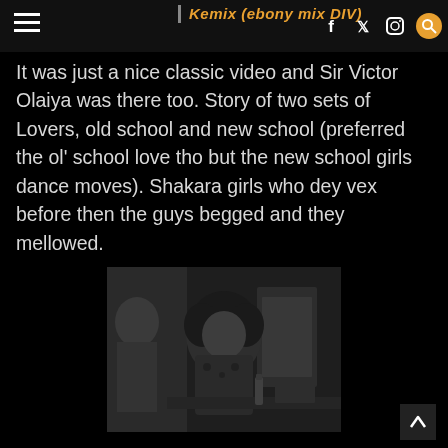Kemix (ebony mix DIV)
It was just a nice classic video and Sir Victor Olaiya was there too. Story of two sets of Lovers, old school and new school (preferred the ol' school love tho but the new school girls dance moves). Shakara girls who dey vex before then the guys begged and they mellowed.
[Figure (photo): Black and white still from a classic music video showing a woman with an afro hairstyle holding something, seated near what appears to be furniture or equipment in an indoor setting.]